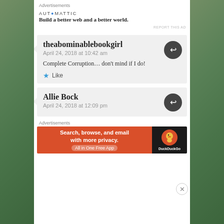Advertisements
[Figure (infographic): Automattic advertisement: logo text AUTOMATTIC with dot styled in blue, tagline 'Build a better web and a better world.']
REPORT THIS AD
theabominablebookgirl
April 24, 2018 at 10:42 am

Complete Corruption… don't mind if I do!
Like
Allie Bock
April 24, 2018 at 12:09 pm
Advertisements
[Figure (infographic): DuckDuckGo advertisement banner: orange section with text 'Search, browse, and email with more privacy. All in One Free App', dark section with DuckDuckGo duck logo]